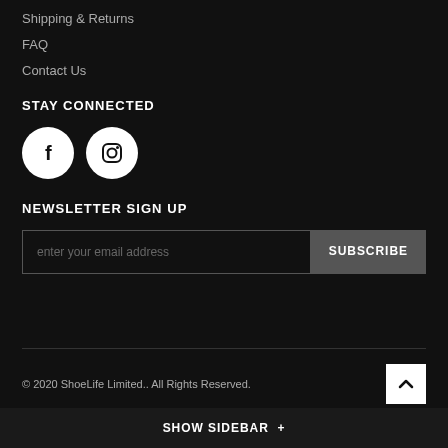Shipping & Returns
FAQ
Contact Us
STAY CONNECTED
[Figure (other): Facebook and Instagram social media icon circles (white circles with black icons on dark background)]
NEWSLETTER SIGN UP
enter your email address [input field] SUBSCRIBE [button]
© 2020 ShoeLife Limited.. All Rights Reserved.
SHOW SIDEBAR +